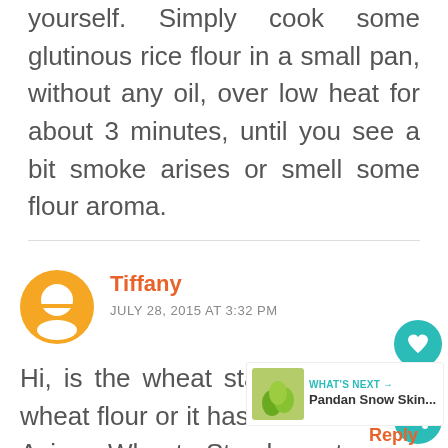yourself. Simply cook some glutinous rice flour in a small pan, without any oil, over low heat for about 3 minutes, until you see a bit smoke arises or smell some flour aroma.
Tiffany
JULY 28, 2015 AT 3:32 PM
Hi, is the wheat starch normal wheat flour or it has to be those Asian Wheat Starch - tang meen fun, or Tang flour